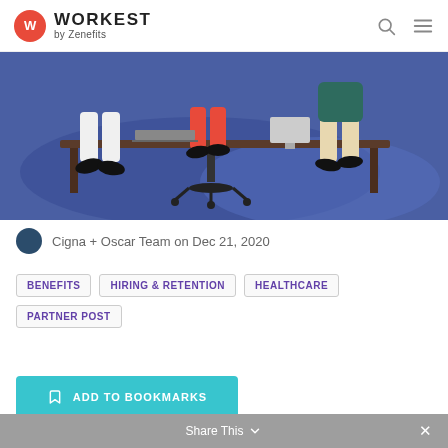WORKEST by Zenefits
[Figure (illustration): Illustrated people sitting at a desk in an office, colorful cartoon style on blue background]
Cigna + Oscar Team on Dec 21, 2020
BENEFITS
HIRING & RETENTION
HEALTHCARE
PARTNER POST
ADD TO BOOKMARKS
Share This